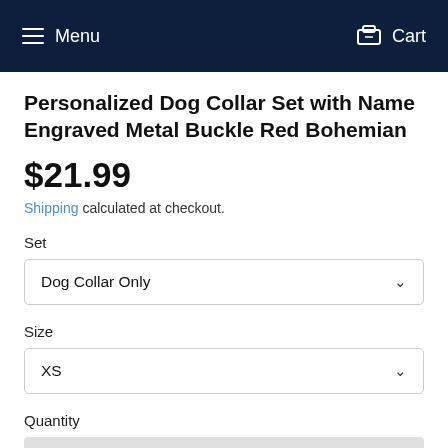Menu   Cart
Personalized Dog Collar Set with Name Engraved Metal Buckle Red Bohemian
$21.99
Shipping calculated at checkout.
Set
Dog Collar Only
Size
XS
Quantity